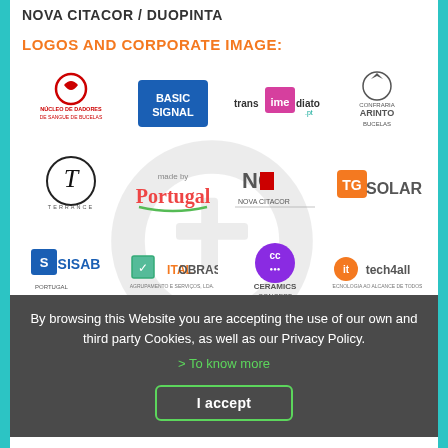NOVA CITACOR / DUOPINTA
LOGOS AND CORPORATE IMAGE:
[Figure (other): Grid of company logos: Núcleo de Dadores de Sangue de Bucelas, Basic Signal, Transimediato.pt, Confraria Arinto Bucelas, Terrance (ornate T), Made by Portugal, Nova Citacor (NC), TG Solar, SISAB Portugal, Italobras, Ceramics Concept (CC), itech4all, and more logos partially visible at bottom. A large faded Q with plus sign watermark overlays the grid.]
By browsing this Website you are accepting the use of our own and third party Cookies, as well as our Privacy Policy.
> To know more
I accept